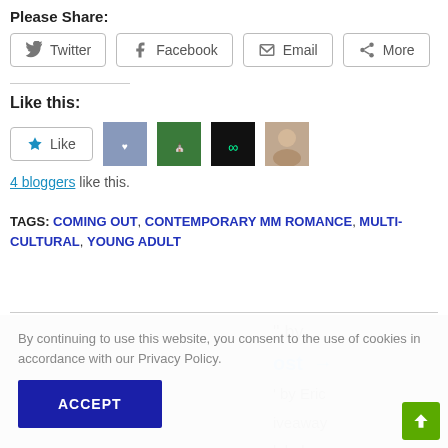Please Share:
Twitter  Facebook  Email  More
Like this:
4 bloggers like this.
TAGS: COMING OUT, CONTEMPORARY MM ROMANCE, MULTI-CULTURAL, YOUNG ADULT
By continuing to use this website, you consent to the use of cookies in accordance with our Privacy Policy.
ACCEPT